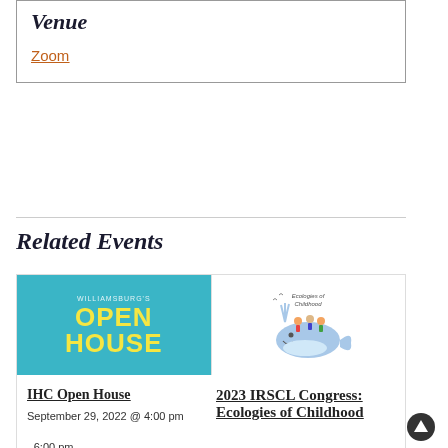Venue
Zoom
Related Events
[Figure (other): Two side-by-side event preview images: left shows an 'Open House' banner with teal background and yellow text, right shows the Ecologies of Childhood illustration with a whale and children.]
IHC Open House
September 29, 2022 @ 4:00 pm
- 6:00 pm
2023 IRSCL Congress: Ecologies of Childhood